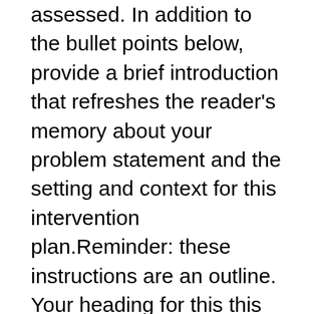assessed. In addition to the bullet points below, provide a brief introduction that refreshes the reader's memory about your problem statement and the setting and context for this intervention plan.Reminder: these instructions are an outline. Your heading for this this section should be Intervention Plan Components and not Part 1: Intervention Plan Components.Part 1: Intervention Plan ComponentsDefine the major components of an intervention plan for a health promotion, quality improvement, prevention, education, or management need.Explain the impact of cultural needs and characteristics of a target population and setting on the development of intervention plan components.Part 2: Theoretical FoundationsEvaluate theoretical nursing models, strategies from other disciplines, and health care technologies relevant to an intervention plan.Justify the major components of an intervention by referencing relevant and contemporary evidence from the literature and best practices.Part 3: Stakeholders, Policy, and RegulationsAnalyze the impact of stakeholder needs, health care policy, regulations, and governing bodies relevant to health care